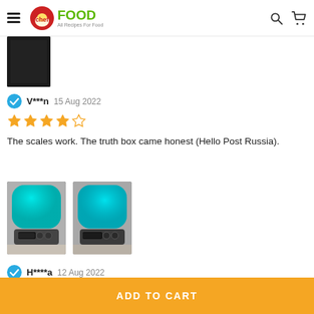FOOD All Recipes For Food
[Figure (photo): Partial product image (dark/black scale top) cropped at top of review section]
V***n  15 Aug 2022
4 out of 5 stars
The scales work. The truth box came honest (Hello Post Russia).
[Figure (photo): Two photos of a teal/turquoise kitchen scale shown side by side, submitted by reviewer V***n]
H****a  12 Aug 2022
5 out of 5 stars
ADD TO CART